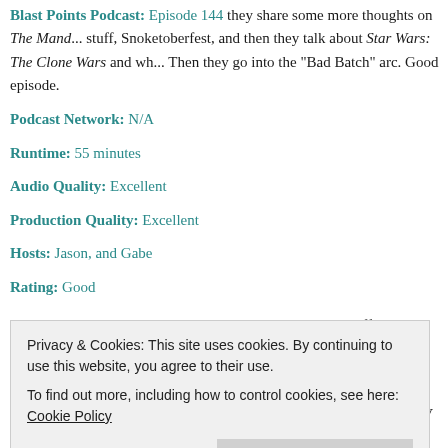Blast Points Podcast: Episode 144 they share some more thoughts on The Manda... stuff, Snoketoberfest, and then they talk about Star Wars: The Clone Wars and wh... Then they go into the "Bad Batch" arc. Good episode.
Podcast Network: N/A
Runtime: 55 minutes
Audio Quality: Excellent
Production Quality: Excellent
Hosts: Jason, and Gabe
Rating: Good
Brews and Blasters: Episode 179 they talk Halloween stuff, they go over Gary K... about the lost Empire documentary that resurfaced, upcoming Boston Comic Con... got'em. Fun episode.
Podcast Network: Retrozap
Runtime: 1 hour 1 minute
Privacy & Cookies: This site uses cookies. By continuing to use this website, you agree to their use. To find out more, including how to control cookies, see here: Cookie Policy
they being a new podcast covering the classic Battlestar Galactica TV show. In th...